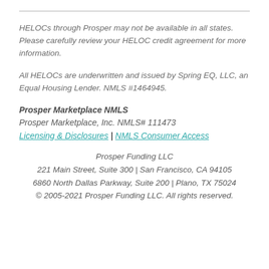HELOCs through Prosper may not be available in all states. Please carefully review your HELOC credit agreement for more information.
All HELOCs are underwritten and issued by Spring EQ, LLC, an Equal Housing Lender. NMLS #1464945.
Prosper Marketplace NMLS
Prosper Marketplace, Inc. NMLS# 111473
Licensing & Disclosures | NMLS Consumer Access
Prosper Funding LLC
221 Main Street, Suite 300 | San Francisco, CA 94105
6860 North Dallas Parkway, Suite 200 | Plano, TX 75024
© 2005-2021 Prosper Funding LLC. All rights reserved.